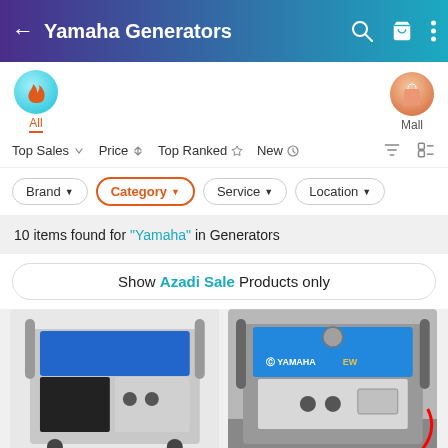Yamaha Generators
All   Mall
Top Sales   Price   Top Ranked   New
Brand   Category   Service   Location
10 items found for "Yamaha" in Generators
Show Azadi Sale Products only
[Figure (photo): Yamaha generator, blue and black, front view]
[Figure (photo): Yamaha generator EW series, blue top, outdoor setting]